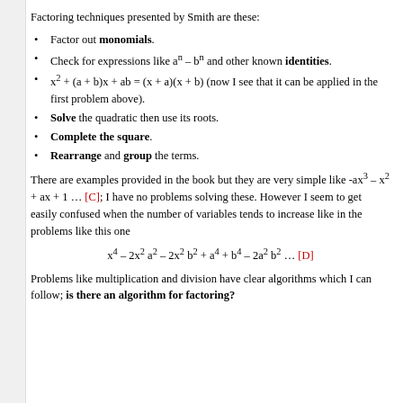Factoring techniques presented by Smith are these:
Factor out monomials.
Check for expressions like aⁿ – bⁿ and other known identities.
x² + (a + b)x + ab = (x + a)(x + b) (now I see that it can be applied in the first problem above).
Solve the quadratic then use its roots.
Complete the square.
Rearrange and group the terms.
There are examples provided in the book but they are very simple like -ax³ – x² + ax + 1 … [C]; I have no problems solving these. However I seem to get easily confused when the number of variables tends to increase like in the problems like this one
Problems like multiplication and division have clear algorithms which I can follow; is there an algorithm for factoring?